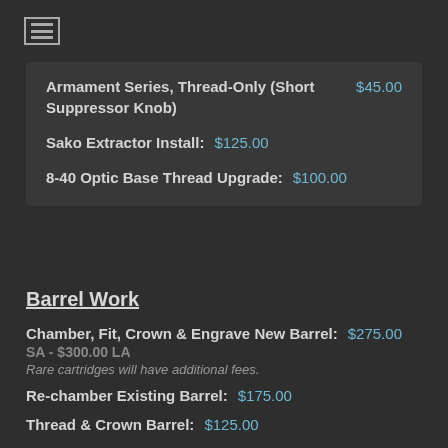≡ (menu icon)
Armament Series, Thread-Only (Short Suppressor Knob) $45.00
Sako Extractor Install: $125.00
8-40 Optic Base Thread Upgrade: $100.00
Barrel Work
Chamber, Fit, Crown & Engrave New Barrel: $275.00 SA - $300.00 LA
Rare cartridges will have additional fees.
Re-chamber Existing Barrel: $175.00
Thread & Crown Barrel: $125.00